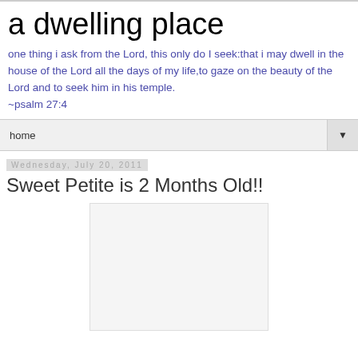a dwelling place
one thing i ask from the Lord, this only do I seek:that i may dwell in the house of the Lord all the days of my life,to gaze on the beauty of the Lord and to seek him in his temple. ~psalm 27:4
home
Wednesday, July 20, 2011
Sweet Petite is 2 Months Old!!
[Figure (photo): A photo placeholder rectangle with light gray background]